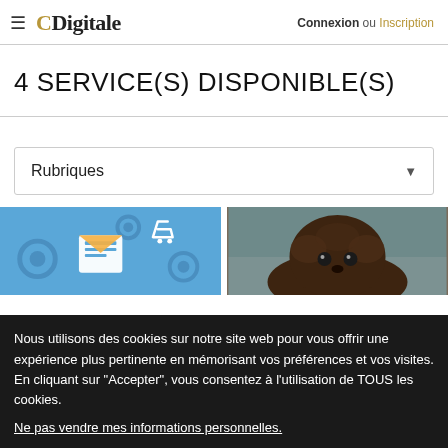≡ CDigitale | Connexion ou Inscription
4 SERVICE(S) DISPONIBLE(S)
Rubriques
[Figure (illustration): Blue background illustration with digital service icons: gears, document, envelope, shopping cart]
[Figure (photo): Photo of a dark brown fluffy dog looking at the camera]
Nous utilisons des cookies sur notre site web pour vous offrir une expérience plus pertinente en mémorisant vos préférences et vos visites. En cliquant sur "Accepter", vous consentez à l'utilisation de TOUS les cookies.
Ne pas vendre mes informations personnelles.